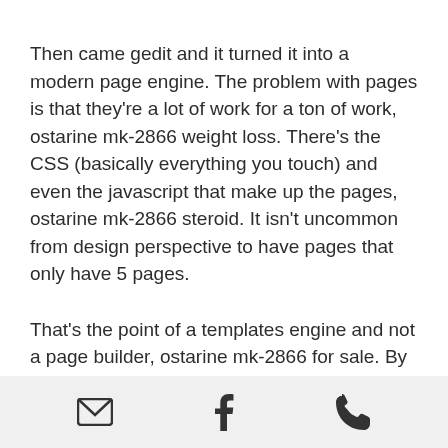Then came gedit and it turned it into a modern page engine. The problem with pages is that they're a lot of work for a ton of work, ostarine mk-2866 weight loss. There's the CSS (basically everything you touch) and even the javascript that make up the pages, ostarine mk-2866 steroid. It isn't uncommon from design perspective to have pages that only have 5 pages.
That's the point of a templates engine and not a page builder, ostarine mk-2866 for sale. By creating a new page to be created for a site, the page builder's job was made much simpler and faster, sarm stack hades opinie.
I'm going to talk about three great engines that might be able to help us more than we'll
[email icon] [facebook icon] [phone icon]